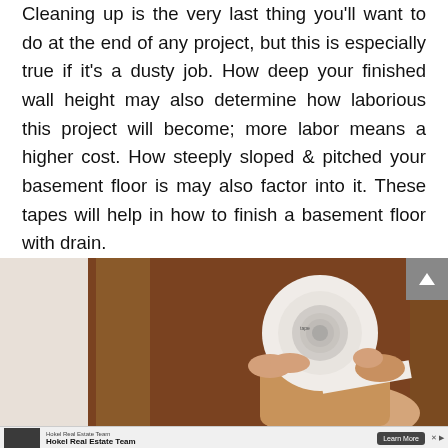Cleaning up is the very last thing you'll want to do at the end of any project, but this is especially true if it's a dusty job. How deep your finished wall height may also determine how laborious this project will become; more labor means a higher cost. How steeply sloped & pitched your basement floor is may also factor into it. These tapes will help in how to finish a basement floor with drain.
[Figure (photo): A hand holding a roll of white tape against a brown/orange background, likely in a basement or construction setting.]
Hokel Real Estate Team
Hokel Real Estate Team
Learn More